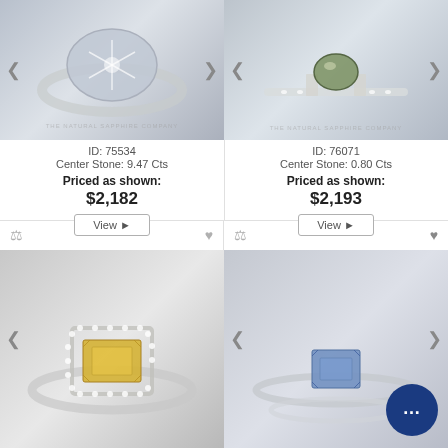[Figure (photo): Ring with large oval grey/blue cabochon star sapphire center stone set in white gold with diamond accents, watermark THE NATURAL SAPPHIRE COMPANY]
ID: 75534
Center Stone: 9.47 Cts
Priced as shown:
$2,182
[Figure (photo): Ring with oval green/teal sapphire center stone set in white gold, with baguette side stones and diamond pave band, watermark THE NATURAL SAPPHIRE COMPANY]
ID: 76071
Center Stone: 0.80 Cts
Priced as shown:
$2,193
[Figure (photo): Ring with emerald-cut yellow sapphire center stone set in white gold with diamond halo and pave band]
[Figure (photo): Ring with emerald-cut blue sapphire center stone set in white gold simple band, with chat bubble overlay]